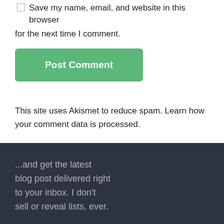Save my name, email, and website in this browser for the next time I comment.
Post Comment
This site uses Akismet to reduce spam. Learn how your comment data is processed.
...and get the latest blog post delivered right to your inbox. I don't sell or reveal lists, ever.